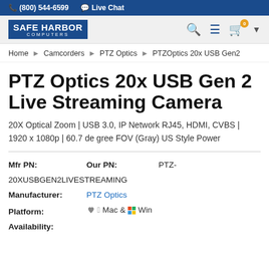(800) 544-6599  Live Chat
[Figure (logo): Safe Harbor Computers logo - white text on blue background]
Home > Camcorders > PTZ Optics > PTZOptics 20x USB Gen2
PTZ Optics 20x USB Gen 2 Live Streaming Camera
20X Optical Zoom | USB 3.0, IP Network RJ45, HDMI, CVBS | 1920 x 1080p | 60.7 degree FOV (Gray) US Style Power
Mfr PN:   Our PN:   PTZ-20XUSBGEN2LIVESTREAMING
Manufacturer: PTZ Optics
Platform: Mac & Win
Availability: